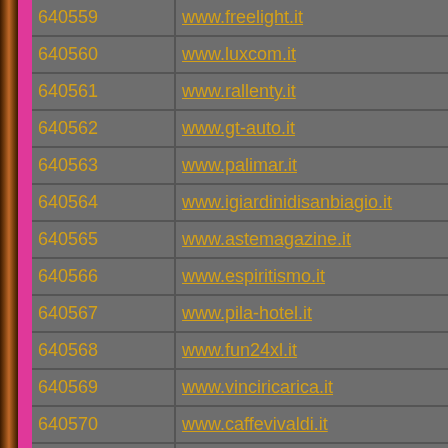| ID | URL |
| --- | --- |
| 640559 | www.freelight.it |
| 640560 | www.luxcom.it |
| 640561 | www.rallenty.it |
| 640562 | www.gt-auto.it |
| 640563 | www.palimar.it |
| 640564 | www.igiardinidisanbiagio.it |
| 640565 | www.astemagazine.it |
| 640566 | www.espiritismo.it |
| 640567 | www.pila-hotel.it |
| 640568 | www.fun24xl.it |
| 640569 | www.vinciricarica.it |
| 640570 | www.caffevivaldi.it |
| 640571 | www.colomboadv.it |
| 640572 | www.printdesign.it |
| 640573 | www.daunia.it |
| 640574 | www.zangiaarredo.it |